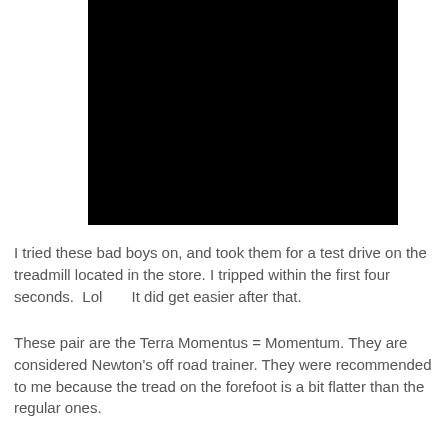[Figure (photo): Black rectangular image, likely a photo that is not rendering (all black).]
I tried these bad boys on, and took them for a test drive on the treadmill located in the store. I tripped within the first four seconds.  Lol       It did get easier after that.
These pair are the Terra Momentus = Momentum. They are considered Newton's off road trainer. They were recommended to me because the tread on the forefoot is a bit flatter than the regular ones.